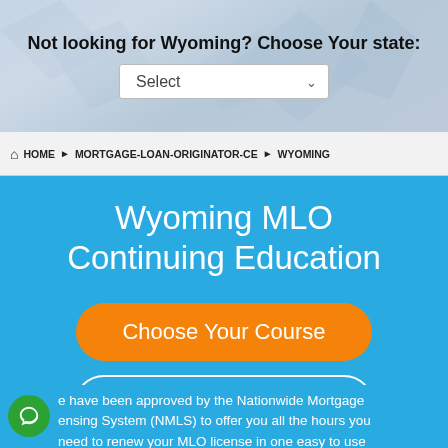Not looking for Wyoming? Choose Your state:
[Figure (screenshot): State selector dropdown showing 'Select' with a chevron]
HOME ▶ MORTGAGE-LOAN-ORIGINATOR-CE ▶ WYOMING
Wyoming MLO Continuing Education
Choose Your Course
View Requirements
e have been approved by the Nationwide Mortgage ensing System (NMLS) to offer you all the hours you need to renew your MLO license in one easy to use